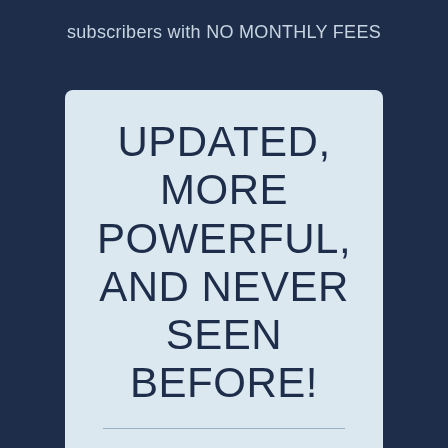subscribers with NO MONTHLY FEES
UPDATED, MORE POWERFUL, AND NEVER SEEN BEFORE!
Get an overnight increase in email delivery, opens, clicks & profits. Say goodbye to monthly email service fees forever